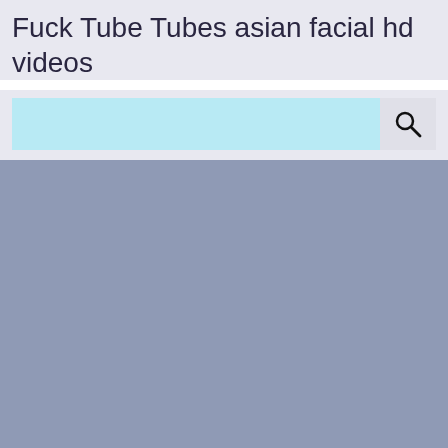Fuck Tube Tubes asian facial hd videos
[Figure (screenshot): Search bar with light blue input field and search button with magnifying glass icon]
[Figure (other): Large grey-blue blank content area filling the lower portion of the page]